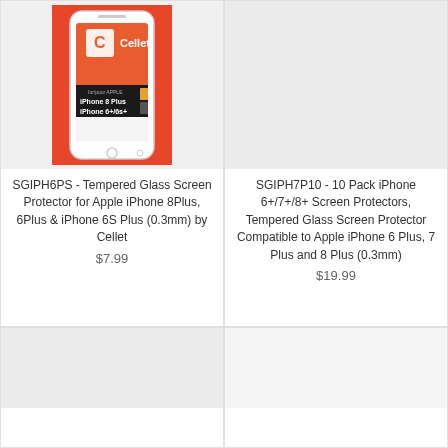[Figure (photo): Cellet product packaging showing iPhone 8 Plus / iPhone 6+/6s+ tempered glass screen protector, displayed inside a white iPhone mockup on a red/orange background]
SGIPH6PS - Tempered Glass Screen Protector for Apple iPhone 8Plus, 6Plus & iPhone 6S Plus (0.3mm) by Cellet
$7.99
[Figure (photo): Gray placeholder image for SGIPH7P10 product]
SGIPH7P10 - 10 Pack iPhone 6+/7+/8+ Screen Protectors, Tempered Glass Screen Protector Compatible to Apple iPhone 6 Plus, 7 Plus and 8 Plus (0.3mm)
$19.99
[Figure (photo): Gray placeholder image for bottom-left product]
[Figure (photo): Gray placeholder image for bottom-right product]